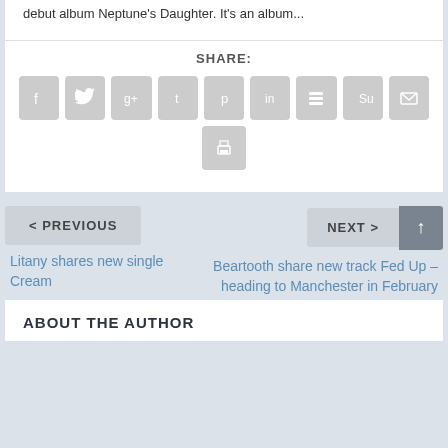debut album Neptune's Daughter. It's an album...
SHARE:
[Figure (infographic): Social share buttons: Facebook, Twitter, Google+, Tumblr, Pinterest, LinkedIn, Buffer, StumbleUpon, Email, Print]
< PREVIOUS
NEXT >
Litany shares new single Cream
Beartooth share new track Fed Up – heading to Manchester in February
ABOUT THE AUTHOR